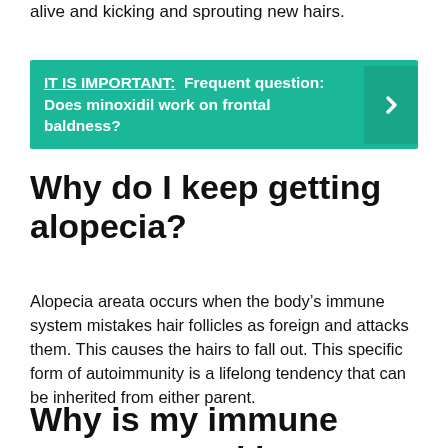alive and kicking and sprouting new hairs.
[Figure (infographic): Teal callout box with text: IT IS IMPORTANT: Frequent question: Does minoxidil work on frontal baldness? with a right arrow chevron on the right side.]
Why do I keep getting alopecia?
Alopecia areata occurs when the body’s immune system mistakes hair follicles as foreign and attacks them. This causes the hairs to fall out. This specific form of autoimmunity is a lifelong tendency that can be inherited from either parent.
Why is my immune system attacking my hair follicles?